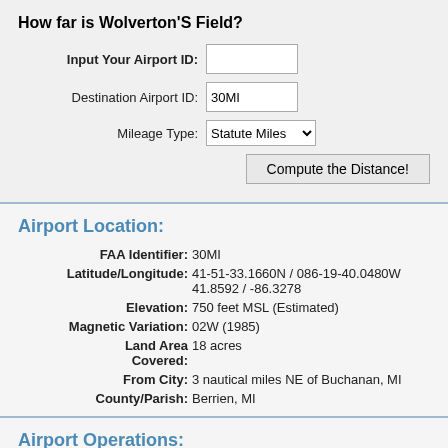How far is Wolverton'S Field?
Input Your Airport ID: [text input]
Destination Airport ID: 30MI
Mileage Type: Statute Miles [dropdown]
Compute the Distance! [button]
Airport Location:
FAA Identifier: 30MI
Latitude/Longitude: 41-51-33.1660N / 086-19-40.0480W
41.8592 / -86.3278
Elevation: 750 feet MSL (Estimated)
Magnetic Variation: 02W (1985)
Land Area Covered: 18 acres
From City: 3 nautical miles NE of Buchanan, MI
County/Parish: Berrien, MI
Airport Operations: